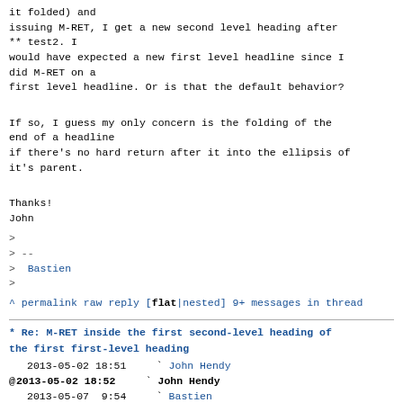Also, after navigating to the end of * test/M2 (with it folded) and
issuing M-RET, I get a new second level heading after
** test2. I
would have expected a new first level headline since I did M-RET on a
first level headline. Or is that the default behavior?
If so, I guess my only concern is the folding of the end of a headline
if there's no hard return after it into the ellipsis of
it's parent.
Thanks!
John
>
> --
>  Bastien
>
^ permalink raw reply   [flat|nested] 9+ messages in
thread
* Re: M-RET inside the first second-level heading of the first first-level heading
| date | indicator | name |
| --- | --- | --- |
| 2013-05-02 18:51 |  | John Hendy |
| 2013-05-02 18:52 | @ | John Hendy |
| 2013-05-07  9:54 |  | Bastien |